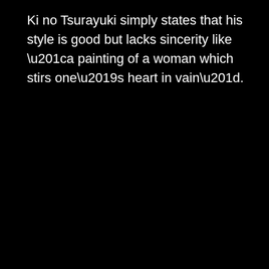Ki no Tsurayuki simply states that his style is good but lacks sincerity like “a painting of a woman which stirs one’s heart in vain”.